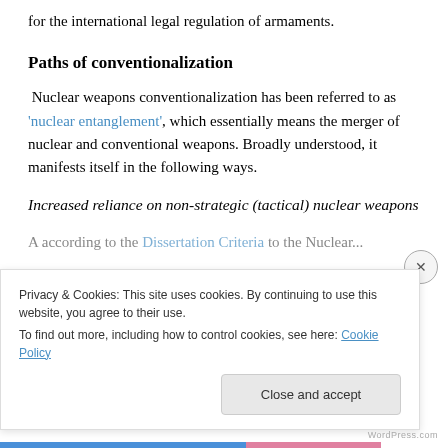for the international legal regulation of armaments.
Paths of conventionalization
Nuclear weapons conventionalization has been referred to as 'nuclear entanglement', which essentially means the merger of nuclear and conventional weapons. Broadly understood, it manifests itself in the following ways.
Increased reliance on non-strategic (tactical) nuclear weapons
Privacy & Cookies: This site uses cookies. By continuing to use this website, you agree to their use.
To find out more, including how to control cookies, see here: Cookie Policy